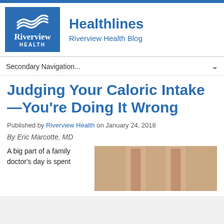[Figure (logo): Riverview Health logo with blue background, wave graphic, and text 'Riverview HEALTH']
Healthlines
Riverview Health Blog
Secondary Navigation...
Judging Your Caloric Intake—You're Doing It Wrong
Published by Riverview Health on January 24, 2018
By Eric Marcotte, MD
A big part of a family doctor's day is spent
[Figure (photo): Close-up photo of feet/legs, skin-toned image]